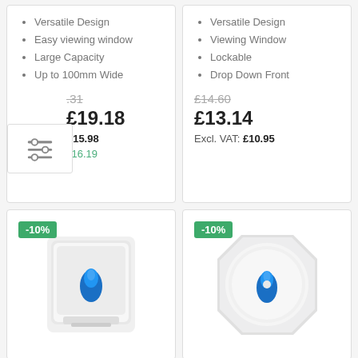Versatile Design
Easy viewing window
Large Capacity
Up to 100mm Wide
£.31 (strikethrough partial)
£19.18
Excl. VAT: £15.98
As low as £16.19
Versatile Design
Viewing Window
Lockable
Drop Down Front
£14.60 (strikethrough)
£13.14
Excl. VAT: £10.95
[Figure (photo): White paper towel dispenser with blue teardrop logo, -10% badge]
[Figure (photo): White round jumbo toilet roll dispenser with blue teardrop logo, -10% badge]